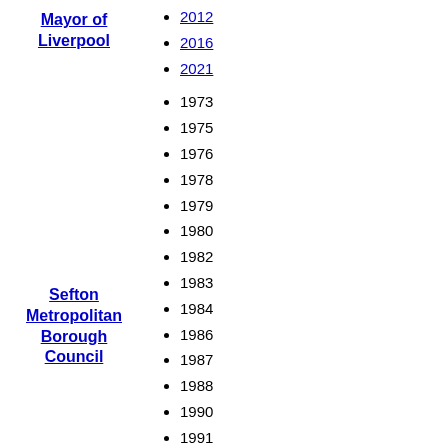Mayor of Liverpool
2012
2016
2021
1973
1975
1976
1978
1979
1980
1982
1983
1984
1986
1987
1988
1990
1991
1992
1994
1995
Sefton Metropolitan Borough Council
1996
1998
1999